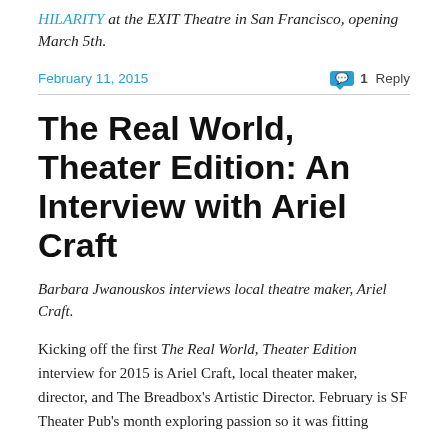HILARITY at the EXIT Theatre in San Francisco, opening March 5th.
February 11, 2015   1 Reply
The Real World, Theater Edition: An Interview with Ariel Craft
Barbara Jwanouskos interviews local theatre maker, Ariel Craft.
Kicking off the first The Real World, Theater Edition interview for 2015 is Ariel Craft, local theater maker, director, and The Breadbox's Artistic Director. February is SF Theater Pub's month exploring passion so it was fitting